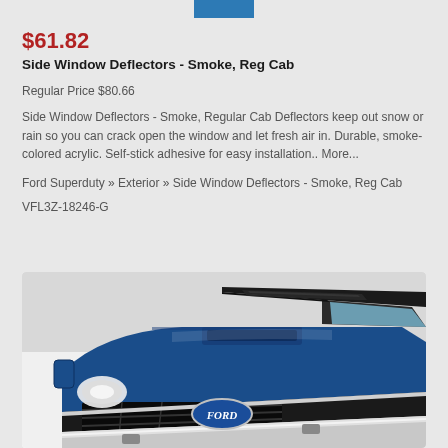$61.82
Side Window Deflectors - Smoke, Reg Cab
Regular Price $80.66
Side Window Deflectors - Smoke, Regular Cab Deflectors keep out snow or rain so you can crack open the window and let fresh air in. Durable, smoke-colored acrylic. Self-stick adhesive for easy installation.. More...
Ford Superduty » Exterior » Side Window Deflectors - Smoke, Reg Cab
VFL3Z-18246-G
[Figure (photo): Front view of a blue Ford Super Duty pickup truck showing the hood and grille from a slightly elevated angle]